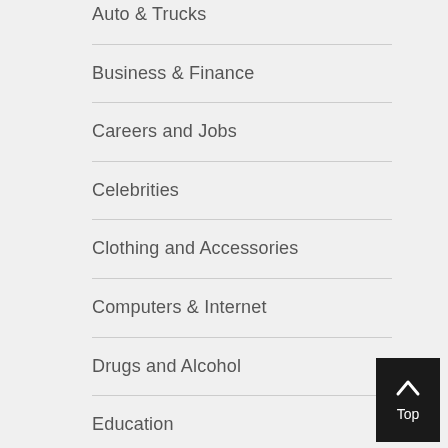Auto & Trucks
Business & Finance
Careers and Jobs
Celebrities
Clothing and Accessories
Computers & Internet
Drugs and Alcohol
Education
Environment and Going Green
Family
Food and Drink